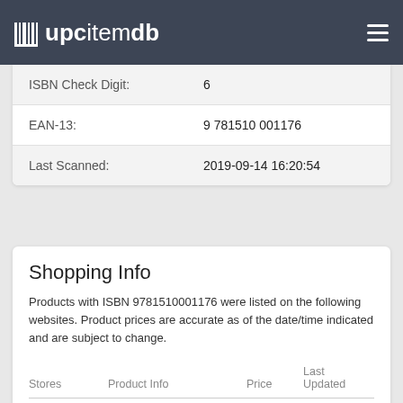upcitemdb
|  |  |
| --- | --- |
| ISBN Check Digit: | 6 |
| EAN-13: | 9 781510 001176 |
| Last Scanned: | 2019-09-14 16:20:54 |
Shopping Info
Products with ISBN 9781510001176 were listed on the following websites. Product prices are accurate as of the date/time indicated and are subject to change.
| Stores | Product Info | Price | Last Updated |
| --- | --- | --- | --- |
| Wordery | The Traitor | £22.71 | 2015-07-01 12:07:59 |